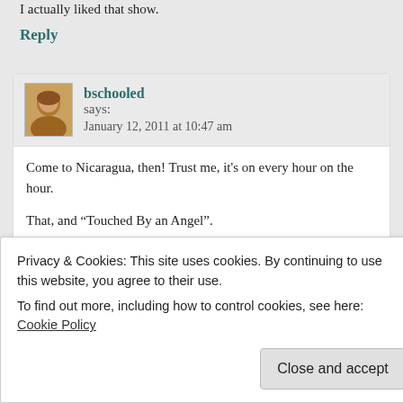I actually liked that show.
Reply
bschooled says:
January 12, 2011 at 10:47 am
Come to Nicaragua, then! Trust me, it's on every hour on the hour.
That, and “Touched By an Angel”.
Reply
nursemyra says:
January 12, 2011 at 1:02 am
Privacy & Cookies: This site uses cookies. By continuing to use this website, you agree to their use.
To find out more, including how to control cookies, see here: Cookie Policy
Close and accept